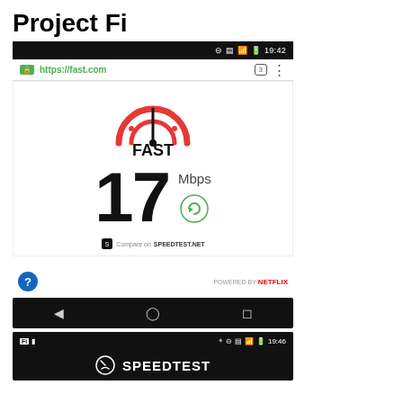Project Fi
[Figure (screenshot): Android Chrome browser showing fast.com speed test result: 17 Mbps, with FAST logo, Mbps label, refresh button, and Compare on SPEEDTEST.NET link. Status bar shows 19:42. Below: navigation bar with back, home, recents. Netflix powered badge. Second screenshot shows Speedtest app status bar at 19:46 with app title SPEEDTEST.]